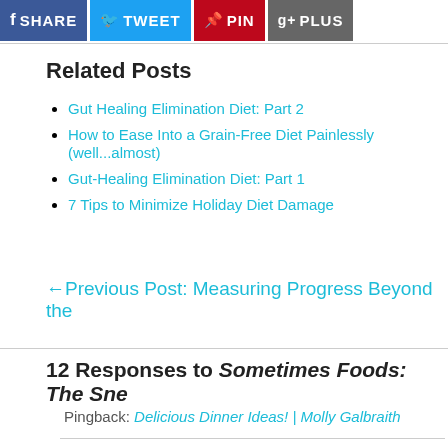[Figure (other): Social sharing buttons: Facebook SHARE, Twitter TWEET, Pinterest PIN, Google+ PLUS]
Related Posts
Gut Healing Elimination Diet: Part 2
How to Ease Into a Grain-Free Diet Painlessly (well...almost)
Gut-Healing Elimination Diet: Part 1
7 Tips to Minimize Holiday Diet Damage
← Previous Post: Measuring Progress Beyond the
12 Responses to Sometimes Foods: The Sne
Pingback: Delicious Dinner Ideas! | Molly Galbraith